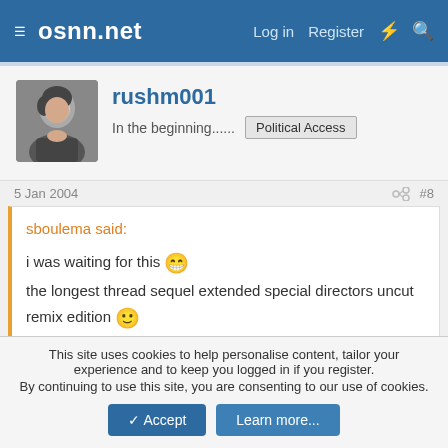osnn.net  Log in  Register
rushm001
In the beginning....... Political Access
5 Jan 2004  #8
sboulema said:
i was waiting for this 😀 the longest thread sequel extended special directors uncut remix edition 🙂 Let the posting begin.
no we only need a word associatio thread and the new nTFS is finished 😀
This site uses cookies to help personalise content, tailor your experience and to keep you logged in if you register.
By continuing to use this site, you are consenting to our use of cookies.
Accept  Learn more...